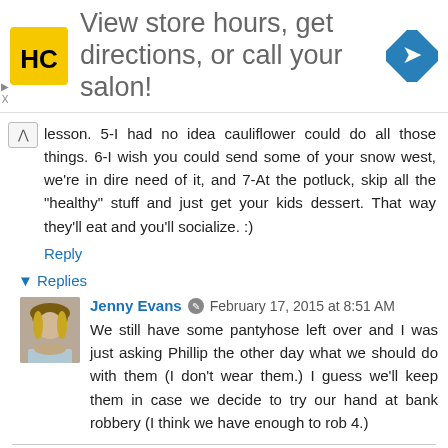[Figure (other): Advertisement banner: HC logo (yellow square with HC letters), text 'View store hours, get directions, or call your salon!', blue diamond navigation icon on right]
lesson. 5-I had no idea cauliflower could do all those things. 6-I wish you could send some of your snow west, we're in dire need of it, and 7-At the potluck, skip all the "healthy" stuff and just get your kids dessert. That way they'll eat and you'll socialize. :)
Reply
▾ Replies
Jenny Evans  February 17, 2015 at 8:51 AM
We still have some pantyhose left over and I was just asking Phillip the other day what we should do with them (I don't wear them.) I guess we'll keep them in case we decide to try our hand at bank robbery (I think we have enough to rob 4.)
Reply